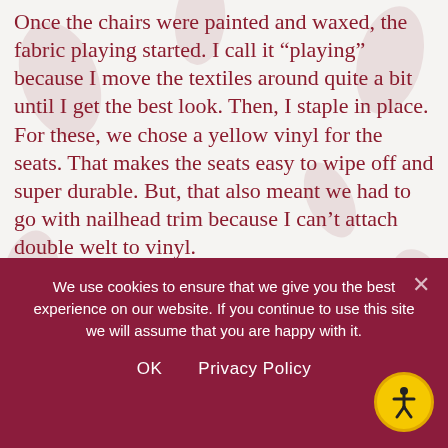Once the chairs were painted and waxed, the fabric playing started. I call it “playing” because I move the textiles around quite a bit until I get the best look. Then, I staple in place. For these, we chose a yellow vinyl for the seats. That makes the seats easy to wipe off and super durable. But, that also meant we had to go with nailhead trim because I can’t attach double welt to vinyl.
[Figure (photo): Close-up photo of colorful embroidered or painted fabric with leaf and floral motifs in multiple colors on a white background, with a dark teal/green border visible at top left]
We use cookies to ensure that we give you the best experience on our website. If you continue to use this site we will assume that you are happy with it.
OK    Privacy Policy